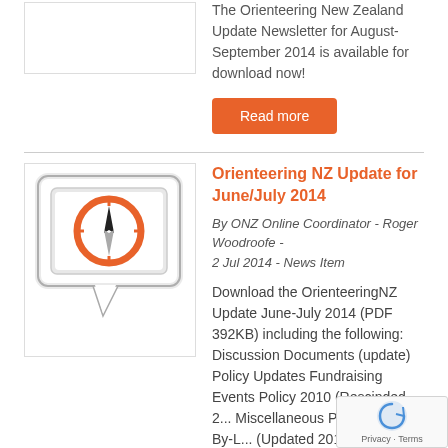[Figure (illustration): Placeholder image box (top, partially visible)]
The Orienteering New Zealand Update Newsletter for August-September 2014 is available for download now!
Read more
[Figure (logo): Orienteering NZ compass logo inside a speech bubble / tablet icon, orange and grey]
Orienteering NZ Update for June/July 2014
By ONZ Online Coordinator - Roger Woodroofe - 2 Jul 2014 - News Item
Download the OrienteeringNZ Update June-July 2014 (PDF 392KB) including the following: Discussion Documents (update) Policy Updates Fundraising Events Policy 2010 (Rescinded 2... Miscellaneous Policies and By-L... (Updated 2014) NZ Secondary S... Orienteering Championships NZ